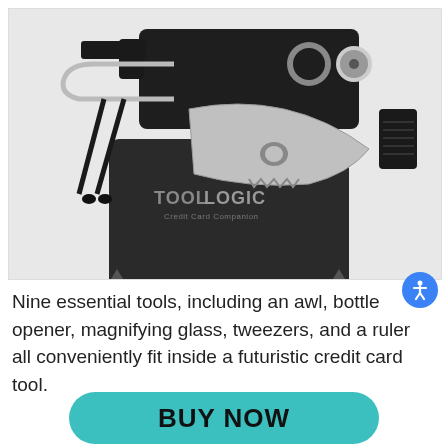[Figure (photo): Tool Logic Credit Card Companion multi-tool displayed with all components separated, including a knife blade, bottle opener, tweezers, compass, and magnifying glass, arranged on a white background.]
Nine essential tools, including an awl, bottle opener, magnifying glass, tweezers, and a ruler all conveniently fit inside a futuristic credit card tool.
BUY NOW